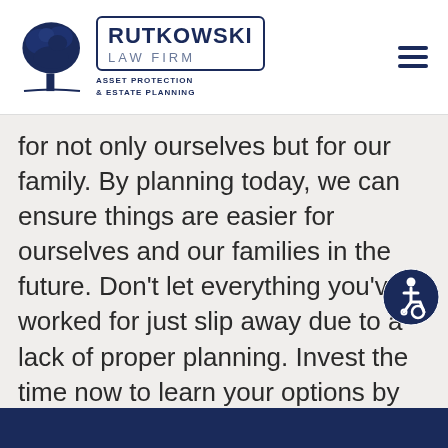[Figure (logo): Rutkowski Law Firm logo with tree illustration and text: RUTKOWSKI LAW FIRM ASSET PROTECTION & ESTATE PLANNING]
for not only ourselves but for our family. By planning today, we can ensure things are easier for ourselves and our families in the future. Don't let everything you've worked for just slip away due to a lack of proper planning. Invest the time now to learn your options by speaking with one of our Michigan elder law lawyers and making choices that protect your legacy.